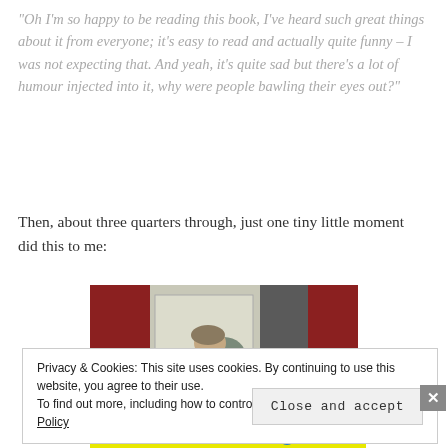“Oh I’m so happy to be reading this book, I’ve heard such great things about it from everyone; it’s easy to read and actually quite funny – I was not expecting that. And yeah, it’s quite sad but there’s a lot of humour injected into it, why were people bawling their eyes out?”
Then, about three quarters through, just one tiny little moment did this to me:
[Figure (photo): A person bending forward, taken in a room with a door and red wall in the background]
Privacy & Cookies: This site uses cookies. By continuing to use this website, you agree to their use. To find out more, including how to control cookies, see here: Cookie Policy
Close and accept
Collaborate, P2.